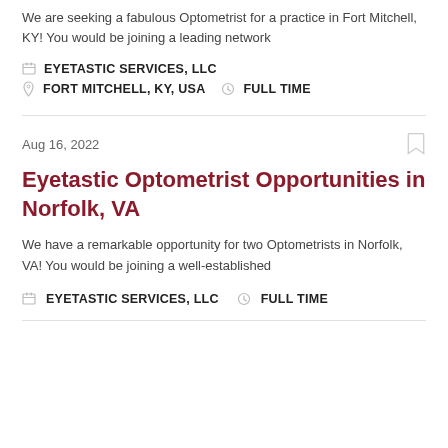We are seeking a fabulous Optometrist for a practice in Fort Mitchell, KY! You would be joining a leading network
EYETASTIC SERVICES, LLC   FORT MITCHELL, KY, USA   FULL TIME
Aug 16, 2022
Eyetastic Optometrist Opportunities in Norfolk, VA
We have a remarkable opportunity for two Optometrists in Norfolk, VA! You would be joining a well-established
EYETASTIC SERVICES, LLC   FULL TIME